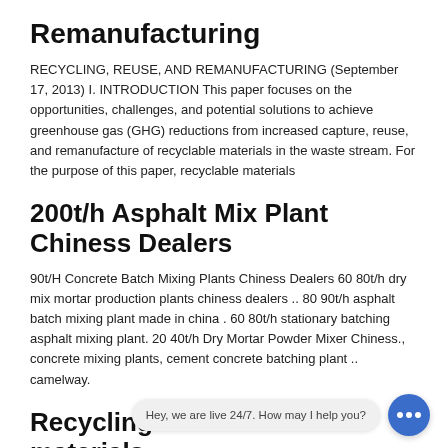Remanufacturing
RECYCLING, REUSE, AND REMANUFACTURING (September 17, 2013) I. INTRODUCTION This paper focuses on the opportunities, challenges, and potential solutions to achieve greenhouse gas (GHG) reductions from increased capture, reuse, and remanufacture of recyclable materials in the waste stream. For the purpose of this paper, recyclable materials
200t/h Asphalt Mix Plant Chiness Dealers
90t/H Concrete Batch Mixing Plants Chiness Dealers 60 80t/h dry mix mortar production plants chiness dealers .. 80 90t/h asphalt batch mixing plant made in china . 60 80t/h stationary batching asphalt mixing plant. 20 40t/h Dry Mortar Powder Mixer Chiness., concrete mixing plants, cement concrete batching plant .. camelway.
Recycling construction materials
The construction industry uses many different types of materials in large quantities. This means there are many